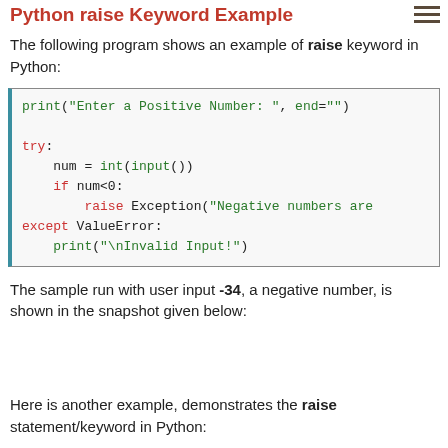Python raise Keyword Example
The following program shows an example of raise keyword in Python:
[Figure (screenshot): Python code block showing: print("Enter a Positive Number: ", end="") followed by try: block with num = int(input()), if num<0: raise Exception("Negative numbers are..."), except ValueError: print("\nInvalid Input!")]
The sample run with user input -34, a negative number, is shown in the snapshot given below:
Here is another example, demonstrates the raise statement/keyword in Python: